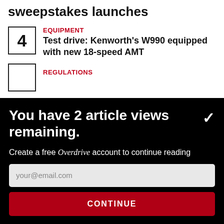sweepstakes launches
4 | EQUIPMENT | Test drive: Kenworth's W990 equipped with new 18-speed AMT
REGULATIONS
You have 2 article views remaining.
Create a free Overdrive account to continue reading
your@email.com
CONTINUE